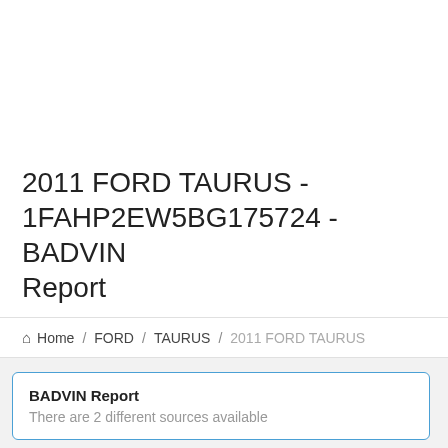2011 FORD TAURUS - 1FAHP2EW5BG175724 - BADVIN Report
⌂ Home / FORD / TAURUS / 2011 FORD TAURUS
BADVIN Report
There are 2 different sources available